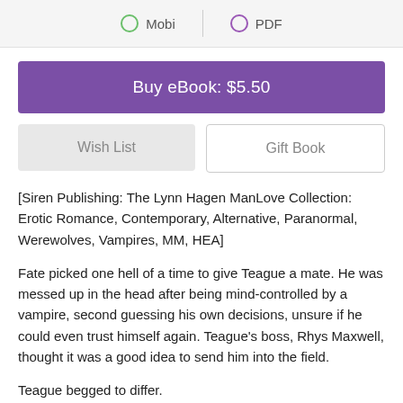Mobi | PDF
Buy eBook: $5.50
Wish List
Gift Book
[Siren Publishing: The Lynn Hagen ManLove Collection: Erotic Romance, Contemporary, Alternative, Paranormal, Werewolves, Vampires, MM, HEA]
Fate picked one hell of a time to give Teague a mate. He was messed up in the head after being mind-controlled by a vampire, second guessing his own decisions, unsure if he could even trust himself again. Teague's boss, Rhys Maxwell, thought it was a good idea to send him into the field.
Teague begged to differ.
Austin Girard was being stalked, and before Teague had stepped into the picture, no one would believe the human. The police wanted more of the same: more assistance. Austin told them about him. T...